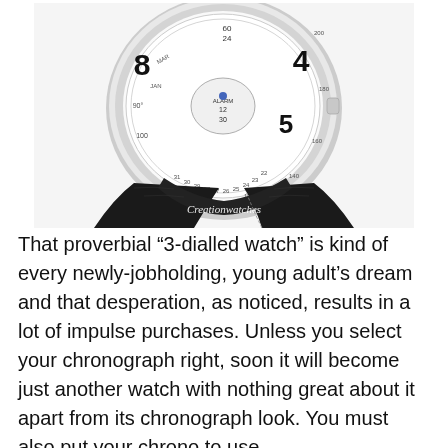[Figure (photo): A close-up photograph of a chronograph wristwatch with a white multi-dial face showing numbers, an alarm subdial, a black leather strap with crocodile texture, and silver case. The brand watermark 'Creationwatches' appears in white italic text on the black strap.]
That proverbial “3-dialled watch” is kind of every newly-jobholding, young adult’s dream and that desperation, as noticed, results in a lot of impulse purchases. Unless you select your chronograph right, soon it will become just another watch with nothing great about it apart from its chronograph look. You must also put your chrono to use